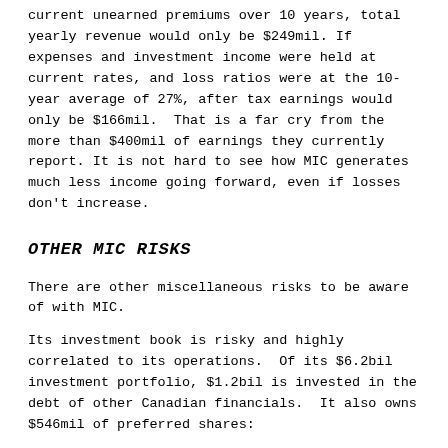current unearned premiums over 10 years, total yearly revenue would only be $249mil. If expenses and investment income were held at current rates, and loss ratios were at the 10-year average of 27%, after tax earnings would only be $166mil.  That is a far cry from the more than $400mil of earnings they currently report. It is not hard to see how MIC generates much less income going forward, even if losses don't increase.
OTHER MIC RISKS
There are other miscellaneous risks to be aware of with MIC.
Its investment book is risky and highly correlated to its operations.  Of its $6.2bil investment portfolio, $1.2bil is invested in the debt of other Canadian financials.  It also owns $546mil of preferred shares: